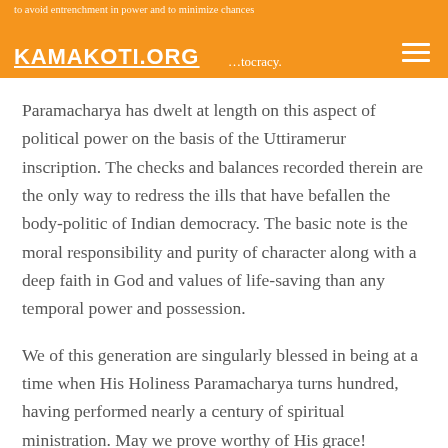to avoid entrenchment in power and to minimize chances … tocracy. KAMAKOTI.ORG
Paramacharya has dwelt at length on this aspect of political power on the basis of the Uttiramerur inscription. The checks and balances recorded therein are the only way to redress the ills that have befallen the body-politic of Indian democracy. The basic note is the moral responsibility and purity of character along with a deep faith in God and values of life-saving than any temporal power and possession.
We of this generation are singularly blessed in being at a time when His Holiness Paramacharya turns hundred, having performed nearly a century of spiritual ministration. May we prove worthy of His grace!